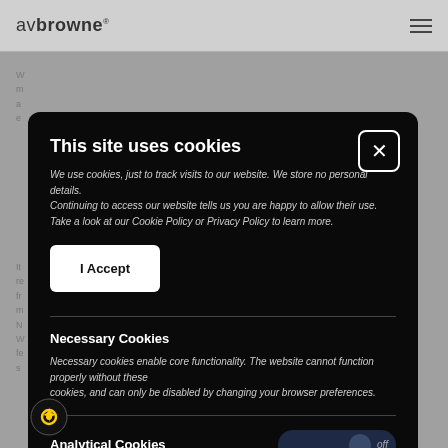av browne
This site uses cookies
We use cookies, just to track visits to our website. We store no personal details. Continuing to access our website tells us you are happy to allow their use. Take a look at our Cookie Policy or Privacy Policy to learn more.
I Accept
Necessary Cookies
Necessary cookies enable core functionality. The website cannot function properly without these cookies, and can only be disabled by changing your browser preferences.
Analytical Cookies
Analytical cookies help us to improve our website by collecting and reporting information on its